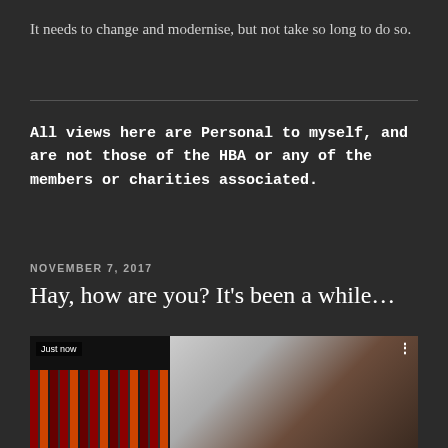It needs to change and modernise, but not take so long to do so.
All views here are Personal to myself, and are not those of the HBA or any of the members or charities associated.
NOVEMBER 7, 2017
Hay, how are you? It’s been a while…
[Figure (photo): A screenshot of a video showing bookshelves on the left with a 'Just now' overlay label, and a blurred figure/hand on the right side with a three-dot menu icon in the top-right corner.]